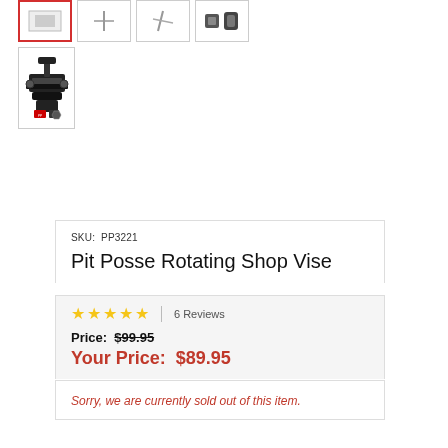[Figure (photo): Row of four product thumbnail images; first has red border (selected), others show different angles of shop vise product]
[Figure (photo): Larger thumbnail showing a mechanical rotating shop vise with product branding logos]
SKU:  PP3221
Pit Posse Rotating Shop Vise
★★★★★  6 Reviews
Price:  $99.95
Your Price:  $89.95
Sorry, we are currently sold out of this item.